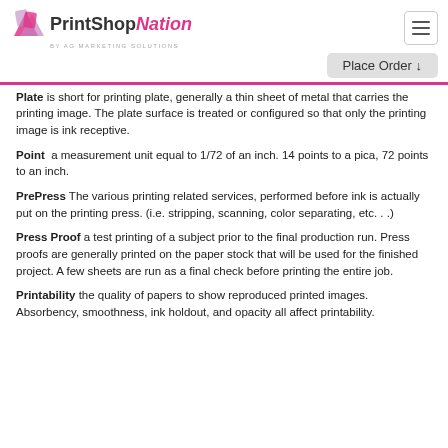PrintShop Nation by AG Marketing Solutions
Place Order ↓
Plate is short for printing plate, generally a thin sheet of metal that carries the printing image. The plate surface is treated or configured so that only the printing image is ink receptive.
Point a measurement unit equal to 1/72 of an inch. 14 points to a pica, 72 points to an inch.
PrePress The various printing related services, performed before ink is actually put on the printing press. (i.e. stripping, scanning, color separating, etc. . .)
Press Proof a test printing of a subject prior to the final production run. Press proofs are generally printed on the paper stock that will be used for the finished project. A few sheets are run as a final check before printing the entire job.
Printability the quality of papers to show reproduced printed images. Absorbency, smoothness, ink holdout, and opacity all affect printability.